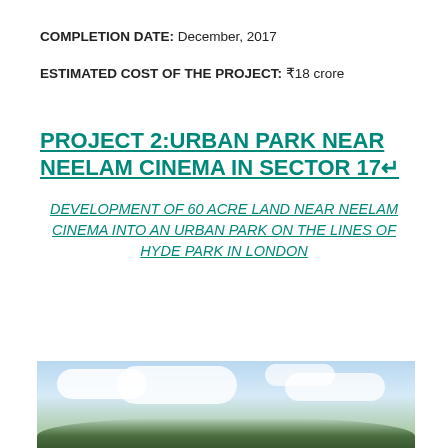COMPLETION DATE: December, 2017
ESTIMATED COST OF THE PROJECT: ₹18 crore
PROJECT 2:URBAN PARK NEAR NEELAM CINEMA IN SECTOR 17↵
DEVELOPMENT OF 60 ACRE LAND NEAR NEELAM CINEMA INTO AN URBAN PARK ON THE LINES OF HYDE PARK IN LONDON
[Figure (photo): Outdoor park scene with blue sky, white clouds, and green trees at the bottom]